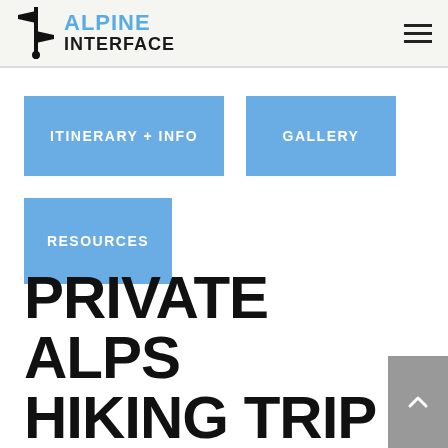Alpine Interface
ITINERARY + INFO
GALLERY
RESOURCES
PRIVATE ALPS HIKING TRIP